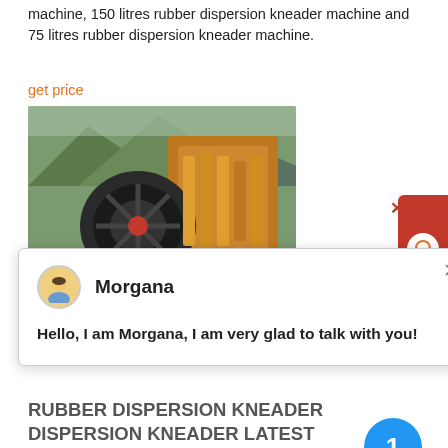machine, 150 litres rubber dispersion kneader machine and 75 litres rubber dispersion kneader machine.
get price
[Figure (photo): Photograph of industrial crushing/kneader machinery with green mountain background and orange/yellow mechanical components]
[Figure (screenshot): Chat popup with avatar labeled Morgana, close button X, and message: Hello, I am Morgana, I am very glad to talk with you!]
RUBBER DISPERSION KNEADER DISPERSION KNEADER LATEST
Find here Rubber Dispersion Kneader, Dispersion Kneader manufacturers, suppliers & exporters in India. Get contact details & address of companies manufacturing and supplying Rubber Dispersion Kneader, Dispersion Kneader across India.
get price